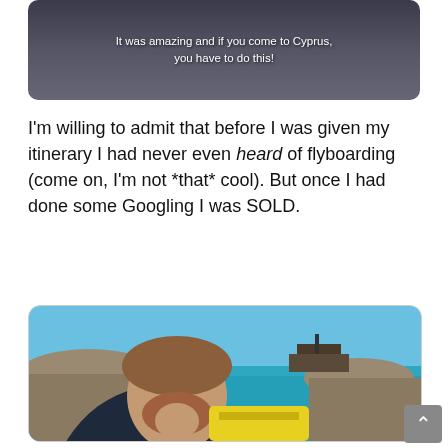[Figure (photo): Screenshot of a video or photo with white text overlay reading 'It was amazing and if you come to Cyprus, you have to do this!' against a dark background]
I'm willing to admit that before I was given my itinerary I had never even heard of flyboarding (come on, I'm not *that* cool). But once I had done some Googling I was SOLD.
[Figure (photo): A man with messy brown hair and beard making a nervous/excited face, holding his fist to his mouth, standing near rocky coastline with vivid turquoise sea and a boat in the background. A yellow piece of equipment is visible in the foreground.]